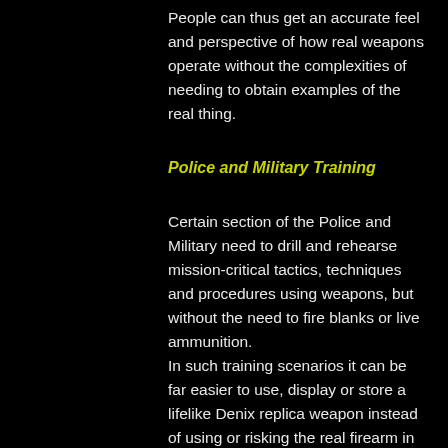People can thus get an accurate feel and perspective of how real weapons operate without the complexities of needing to obtain examples of the real thing.
Police and Military Training
Certain section of the Police and Military need to drill and rehearse mission-critical tactics, techniques and procedures using weapons, but without the need to fire blanks or live ammunition.
In such training scenarios it can be far easier to use, display or store a lifelike Denix replica weapon instead of using or risking the real firearm in a training